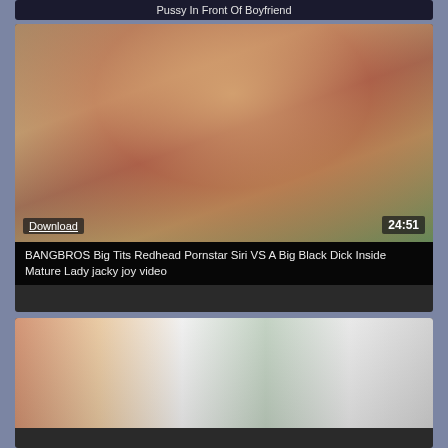Pussy In Front Of Boyfriend
[Figure (photo): Thumbnail of redhead woman, video with Download button and 24:51 duration overlay]
BANGBROS Big Tits Redhead Pornstar Siri VS A Big Black Dick Inside Mature Lady jacky joy video
[Figure (photo): Thumbnail of two women in a laundry room scene]